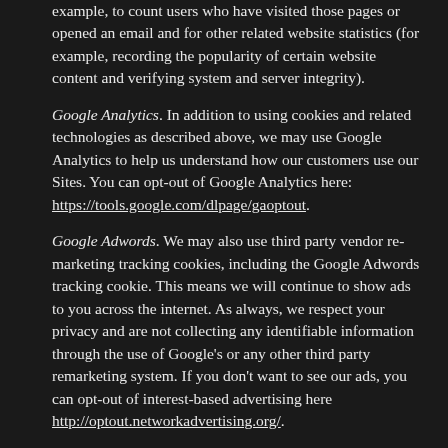example, to count users who have visited those pages or opened an email and for other related website statistics (for example, recording the popularity of certain website content and verifying system and server integrity).
Google Analytics. In addition to using cookies and related technologies as described above, we may use Google Analytics to help us understand how our customers use our Sites. You can opt-out of Google Analytics here: https://tools.google.com/dlpage/gaoptout.
Google Adwords. We may also use third party vendor re-marketing tracking cookies, including the Google Adwords tracking cookie. This means we will continue to show ads to you across the internet. As always, we respect your privacy and are not collecting any identifiable information through the use of Google's or any other third party remarketing system. If you don't want to see our ads, you can opt-out of interest-based advertising here http://optout.networkadvertising.org/.
Do-Not-Track Signals
Some browsers incorporate a "Do Not Track" ("DNT") feature...